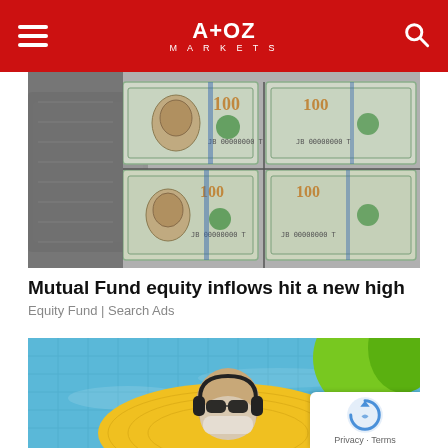A+OZ MARKETS
[Figure (photo): Close-up photo of US $100 dollar bills being printed, with multiple notes visible showing Benjamin Franklin's portrait and the number 100]
Mutual Fund equity inflows hit a new high
Equity Fund | Search Ads
[Figure (photo): Older man with white beard wearing sunglasses and headphones relaxing on a yellow pineapple inflatable float in a blue swimming pool]